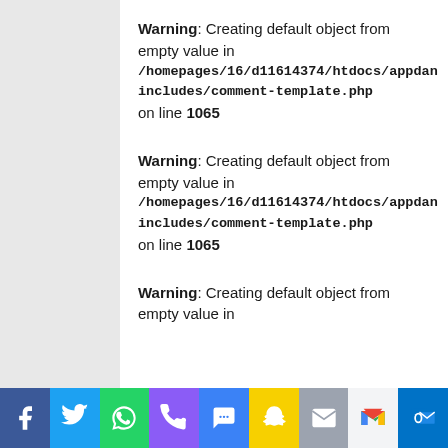Warning: Creating default object from empty value in /homepages/16/d11614374/htdocs/appdan includes/comment-template.php on line 1065
Warning: Creating default object from empty value in /homepages/16/d11614374/htdocs/appdan includes/comment-template.php on line 1065
Warning: Creating default object from empty value in
[Figure (other): Social media sharing bar with icons for Facebook, Twitter, WhatsApp, phone, SMS, Snapchat, email, Gmail, and Outlook]